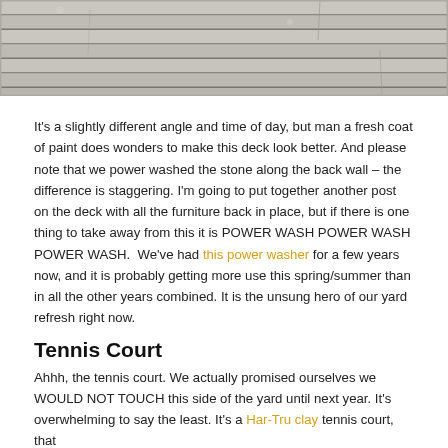[Figure (photo): Close-up photograph of weathered gray painted wooden deck planks, slightly different angle and time of day.]
It's a slightly different angle and time of day, but man a fresh coat of paint does wonders to make this deck look better. And please note that we power washed the stone along the back wall – the difference is staggering. I'm going to put together another post on the deck with all the furniture back in place, but if there is one thing to take away from this it is POWER WASH POWER WASH POWER WASH.  We've had this power washer for a few years now, and it is probably getting more use this spring/summer than in all the other years combined. It is the unsung hero of our yard refresh right now.
Tennis Court
Ahhh, the tennis court. We actually promised ourselves we WOULD NOT TOUCH this side of the yard until next year. It's overwhelming to say the least. It's a Har-Tru clay tennis court, that